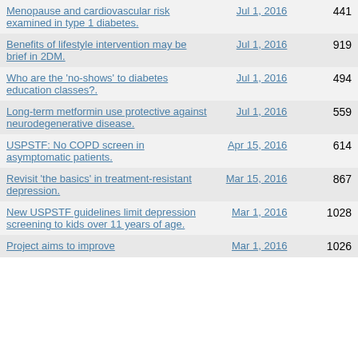| Title | Date | Count |
| --- | --- | --- |
| Menopause and cardiovascular risk examined in type 1 diabetes. | Jul 1, 2016 | 441 |
| Benefits of lifestyle intervention may be brief in 2DM. | Jul 1, 2016 | 919 |
| Who are the 'no-shows' to diabetes education classes?. | Jul 1, 2016 | 494 |
| Long-term metformin use protective against neurodegenerative disease. | Jul 1, 2016 | 559 |
| USPSTF: No COPD screen in asymptomatic patients. | Apr 15, 2016 | 614 |
| Revisit 'the basics' in treatment-resistant depression. | Mar 15, 2016 | 867 |
| New USPSTF guidelines limit depression screening to kids over 11 years of age. | Mar 1, 2016 | 1028 |
| Project aims to improve... | Mar 1, 2016 | 1026 |